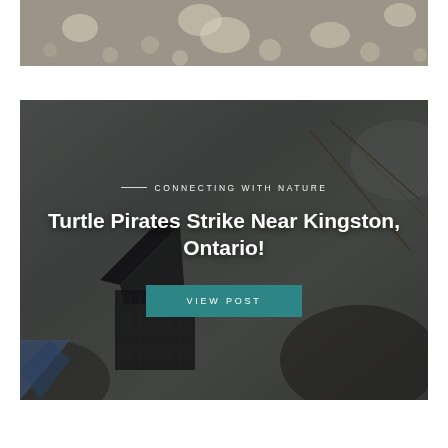[Figure (photo): Close-up aerial or top-down photo of gravel/pebble ground texture with rounded stones, grayish-beige tones]
[Figure (photo): Outdoor nature photo showing rocky/dirt ground with dark angular structures (possibly a protective animal nesting cage/cover), with vegetation debris visible. Overlaid with article card showing 'CONNECTING WITH NATURE' category label and article title 'Turtle Pirates Strike Near Kingston, Ontario!' with a teal 'VIEW POST' button.]
CONNECTING WITH NATURE
Turtle Pirates Strike Near Kingston, Ontario!